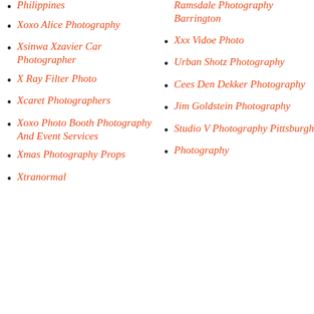Philippines
Xoxo Alice Photography
Xsinwa Xzavier Car Photographer
X Ray Filter Photo
Xcaret Photographers
Xoxo Photo Booth Photography And Event Services
Xmas Photography Props
Xtranormal
Ramsdale Photography Barrington
Xxx Vidoe Photo
Urban Shotz Photography
Cees Den Dekker Photography
Jim Goldstein Photography
Studio V Photography Pittsburgh
Photography